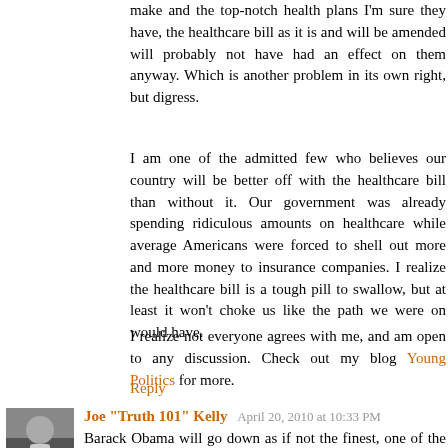make and the top-notch health plans I'm sure they have, the healthcare bill as it is and will be amended will probably not have had an effect on them anyway. Which is another problem in its own right, but digress.
I am one of the admitted few who believes our country will be better off with the healthcare bill than without it. Our government was already spending ridiculous amounts on healthcare while average Americans were forced to shell out more and more money to insurance companies. I realize the healthcare bill is a tough pill to swallow, but at least it won't choke us like the path we were on would have.
I realize not everyone agrees with me, and am open to any discussion. Check out my blog Young Politics for more.
Reply
Joe "Truth 101" Kelly  April 20, 2010 at 10:33 PM
Barack Obama will go down as if not the finest, one of the five finest presidents our great Nation ever had.